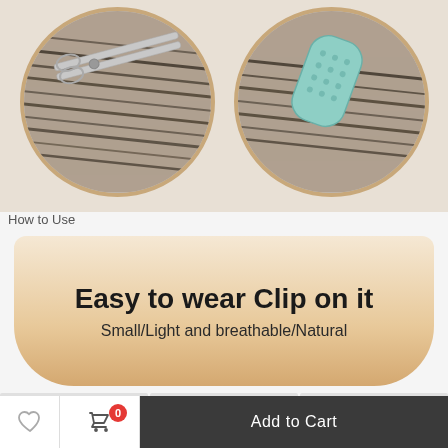[Figure (photo): Two circular framed close-up photos: left shows scissors cutting hair, right shows a mint/teal colored hair clip device on hair. Both circles have a tan/beige border. Background is a light beige tone.]
How to Use
[Figure (illustration): A bowl-shaped tan/beige promotional banner with rounded bottom edges containing product tagline text.]
Easy to wear  Clip on it
Small/Light and breathable/Natural
Add to Cart